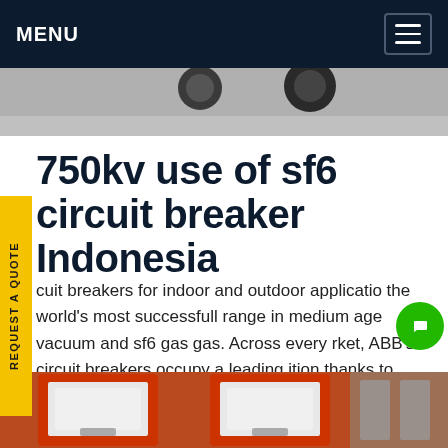MENU
[Figure (photo): Partial view of industrial/electrical equipment components at top of page]
750kv use of sf6 circuit breaker Indonesia
circuit breakers for indoor and outdoor applications the world's most successfull range in medium voltage vacuum and sf6 gas gas. Across every market, ABB's circuit breakers occupy a leading position thanks to their proven reputation for reliability, performance and long life. CBs from ABB available for original equipment manufacturersGet price
[Figure (photo): Bottom portion showing red electrical equipment/circuit breakers]